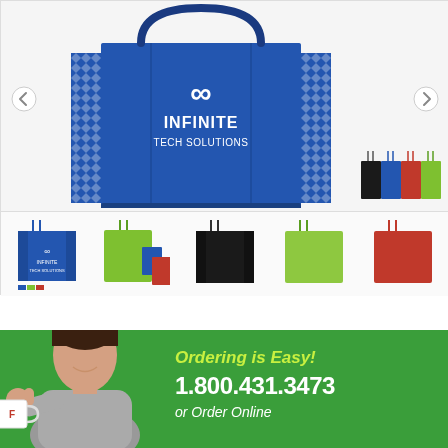[Figure (photo): Product gallery showing tote bags with 'Infinite Tech Solutions' logo. Main large blue tote bag with diamond pattern sides shown prominently. Color swatches showing black, blue, red, and green bag options. Thumbnail strip showing five bag color variants: blue, green, black, light green, and red.]
[Figure (infographic): Green banner advertisement with smiling woman holding a mug with thumbs up. Text reads: 'Ordering is Easy!' and '1.800.431.3473' and 'or Order Online']
Ordering is Easy!
1.800.431.3473
or Order Online